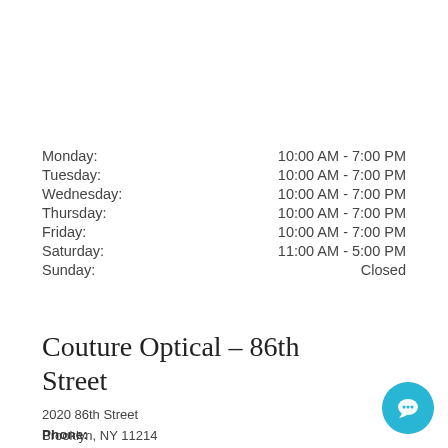Monday: 10:00 AM - 7:00 PM
Tuesday: 10:00 AM - 7:00 PM
Wednesday: 10:00 AM - 7:00 PM
Thursday: 10:00 AM - 7:00 PM
Friday: 10:00 AM - 7:00 PM
Saturday: 11:00 AM - 5:00 PM
Sunday: Closed
Couture Optical – 86th Street
2020 86th Street
Brooklyn, NY 11214
Phone: